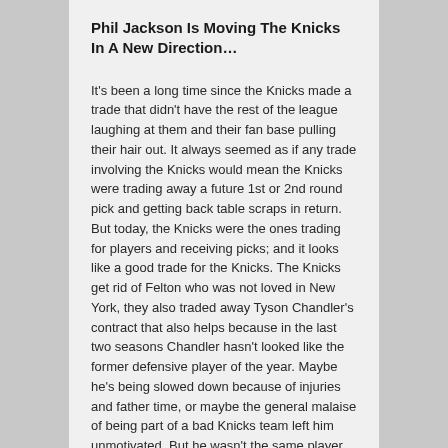Phil Jackson Is Moving The Knicks In A New Direction…
It's been a long time since the Knicks made a trade that didn't have the rest of the league laughing at them and their fan base pulling their hair out. It always seemed as if any trade involving the Knicks would mean the Knicks were trading away a future 1st or 2nd round pick and getting back table scraps in return. But today, the Knicks were the ones trading for players and receiving picks; and it looks like a good trade for the Knicks. The Knicks get rid of Felton who was not loved in New York, they also traded away Tyson Chandler's contract that also helps because in the last two seasons Chandler hasn't looked like the former defensive player of the year. Maybe he's being slowed down because of injuries and father time, or maybe the general malaise of being part of a bad Knicks team left him unmotivated. But he wasn't the same player he was when he first became a Knick.
Phil Jackson did not draft, trade or sign Felton and